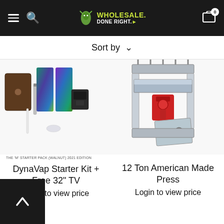Wholesale Done Right — navigation header with hamburger menu, search, logo, and cart (0 items)
Sort by ∨
[Figure (photo): DynaVap Starter Kit product photo showing a walnut case, colorful printed stands, a metal vaporizer pen, a grinder, and accessories on white background. Label reads: THE 'M' STARTER PACK (WALNUT) 2021 EDITION]
THE 'M' STARTER PACK (WALNUT) 2021 EDITION
[Figure (photo): 12 Ton American Made Rosin Press product photo showing a heavy-duty metal press with spikes on top, a red hydraulic jack, and chrome/aluminum plates]
DynaVap Starter Kit + Free 32" TV
12 Ton American Made Press
Login to view price
Login to view price